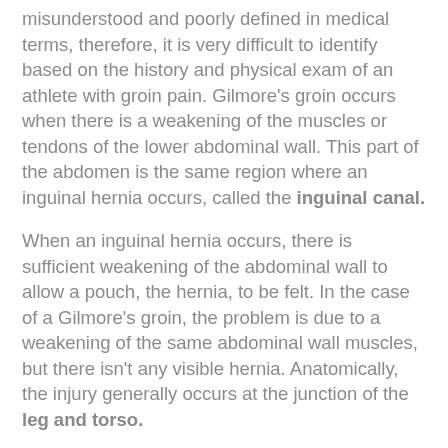misunderstood and poorly defined in medical terms, therefore, it is very difficult to identify based on the history and physical exam of an athlete with groin pain. Gilmore's groin occurs when there is a weakening of the muscles or tendons of the lower abdominal wall. This part of the abdomen is the same region where an inguinal hernia occurs, called the inguinal canal.
When an inguinal hernia occurs, there is sufficient weakening of the abdominal wall to allow a pouch, the hernia, to be felt. In the case of a Gilmore's groin, the problem is due to a weakening of the same abdominal wall muscles, but there isn't any visible hernia. Anatomically, the injury generally occurs at the junction of the leg and torso.
It involves the area known as aponeurosis where the abdominal muscles converge to form the